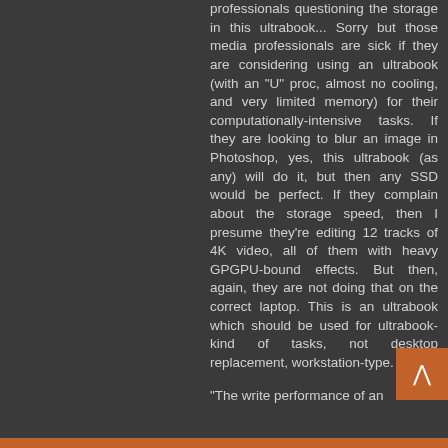professionals questioning the storage in this ultrabook... Sorry but those media professionals are sick if they are considering using an ultrabook (with an "U" proc, almost no cooling, and very limited memory) for their computationally-intensive tasks. If they are looking to blur an image in Photoshop, yes, this ultrabook (as any) will do it, but then any SSD would be perfect. If they complain about the storage speed, then I presume they're editing 12 tracks of 4K video, all of them with heavy GPGPU-bound effects. But then, again, they are not doing that on the correct laptop. This is an ultrabook which should be used for ultrabook-kind of tasks, not desktop replacement, workstation-type.
"The write performance of an